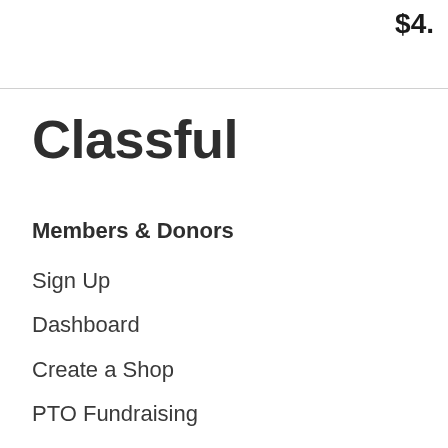$4.
Classful
Members & Donors
Sign Up
Dashboard
Create a Shop
PTO Fundraising
School Fundraising